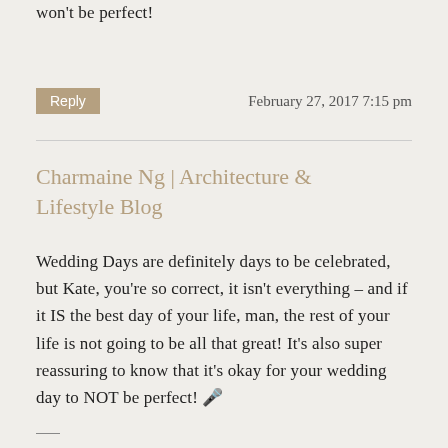won't be perfect!
Reply   February 27, 2017 7:15 pm
Charmaine Ng | Architecture & Lifestyle Blog
Wedding Days are definitely days to be celebrated, but Kate, you're so correct, it isn't everything – and if it IS the best day of your life, man, the rest of your life is not going to be all that great! It's also super reassuring to know that it's okay for your wedding day to NOT be perfect! 🎤